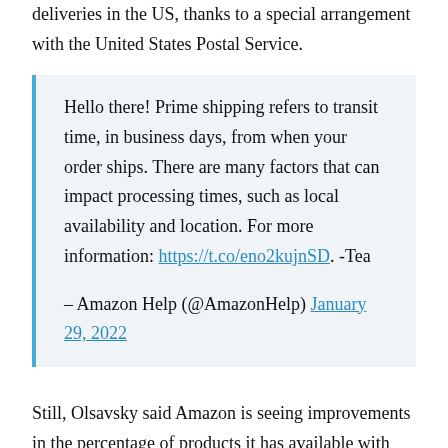deliveries in the US, thanks to a special arrangement with the United States Postal Service.
Hello there! Prime shipping refers to transit time, in business days, from when your order ships. There are many factors that can impact processing times, such as local availability and location. For more information: https://t.co/eno2kujnSD. -Tea

– Amazon Help (@AmazonHelp) January 29, 2022
Still, Olsavsky said Amazon is seeing improvements in the percentage of products it has available with faster shipping speeds, including for one-day shipping. In April of